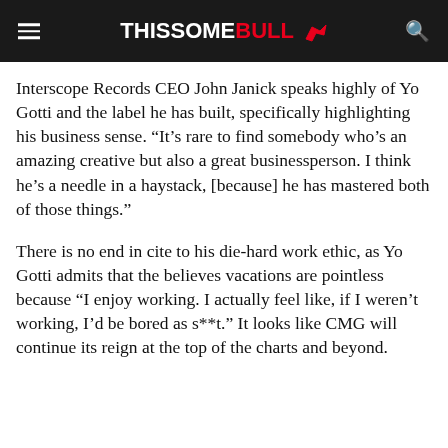THISSOME BULL
Interscope Records CEO John Janick speaks highly of Yo Gotti and the label he has built, specifically highlighting his business sense. “It’s rare to find somebody who’s an amazing creative but also a great businessperson. I think he’s a needle in a haystack, [because] he has mastered both of those things.”
There is no end in cite to his die-hard work ethic, as Yo Gotti admits that the believes vacations are pointless because “I enjoy working. I actually feel like, if I weren’t working, I’d be bored as s**t.” It looks like CMG will continue its reign at the top of the charts and beyond.